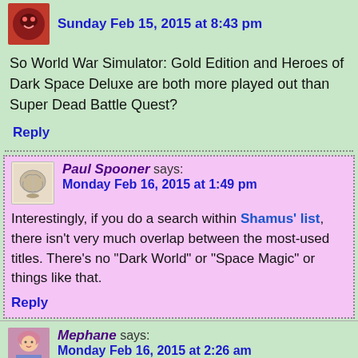Sunday Feb 15, 2015 at 8:43 pm
So World War Simulator: Gold Edition and Heroes of Dark Space Deluxe are both more played out than Super Dead Battle Quest?
Reply
Paul Spooner says:
Monday Feb 16, 2015 at 1:49 pm
Interestingly, if you do a search within Shamus' list, there isn't very much overlap between the most-used titles. There's no "Dark World" or "Space Magic" or things like that.
Reply
Mephane says:
Monday Feb 16, 2015 at 2:26 am